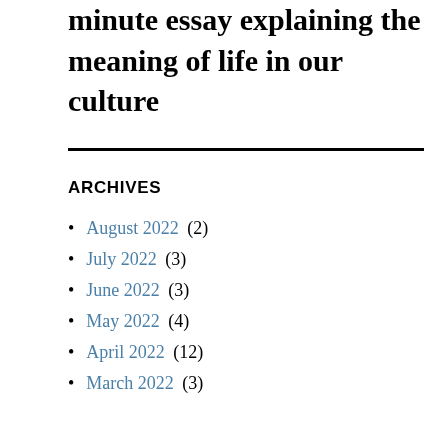minute essay explaining the meaning of life in our culture
ARCHIVES
August 2022 (2)
July 2022 (3)
June 2022 (3)
May 2022 (4)
April 2022 (12)
March 2022 (3)